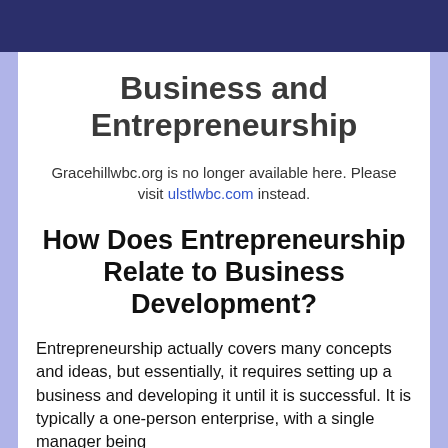Business and Entrepreneurship
Gracehillwbc.org is no longer available here. Please visit ulstlwbc.com instead.
How Does Entrepreneurship Relate to Business Development?
Entrepreneurship actually covers many concepts and ideas, but essentially, it requires setting up a business and developing it until it is successful. It is typically a one-person enterprise, with a single manager being